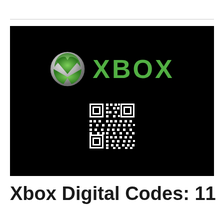[Figure (logo): Xbox logo on black background with green Xbox ball icon and 'XBOX' text in green, plus a QR code below]
Xbox Digital Codes: 11